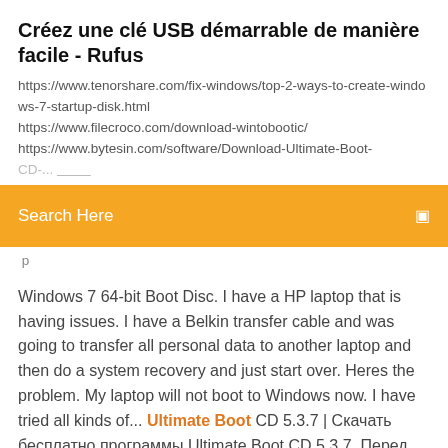Créez une clé USB démarrable de manière facile - Rufus
https://www.tenorshare.com/fix-windows/top-2-ways-to-create-windows-7-startup-disk.html
https://www.filecroco.com/download-wintobootic/
https://www.bytesin.com/software/Download-Ultimate-Boot-CD-...
Search Here
Windows 7 64-bit Boot Disc. I have a HP laptop that is having issues. I have a Belkin transfer cable and was going to transfer all personal data to another laptop and then do a system recovery and just start over. Heres the problem. My laptop will not boot to Windows now. I have tried all kinds of... Ultimate Boot CD 5.3.7 | Скачать бесплатно программы Ultimate Boot CD 5.3.7. Перед вами очень популярный инструмент, содержащий множество утилит для резервного